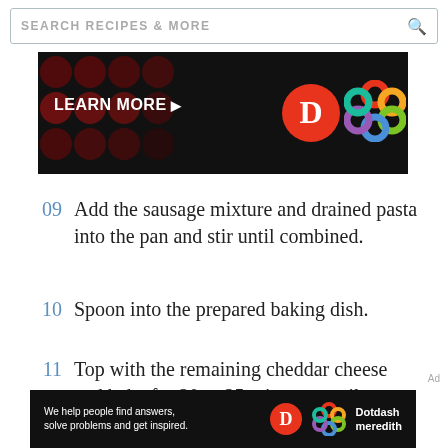SEARCH RECIPES & MORE
[Figure (other): Advertisement banner with 'LEARN MORE' text, dark background with red dots, and Dotdash Meredith D logo plus colorful flower/knot logo]
09  Add the sausage mixture and drained pasta into the pan and stir until combined.
10  Spoon into the prepared baking dish.
11  Top with the remaining cheddar cheese and bake for 20 to 25 minutes, until
[Figure (other): Dotdash Meredith advertisement banner: 'We help people find answers, solve problems and get inspired.' with D logo and colorful knot logo]